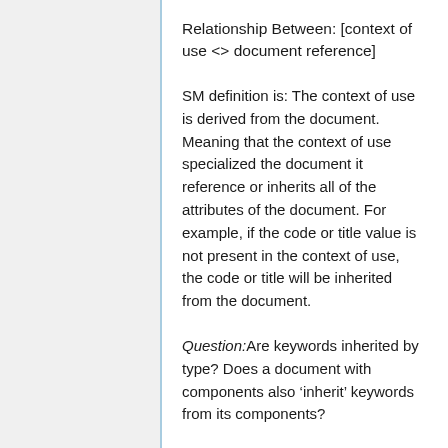Relationship Between: [context of use <> document reference]
SM definition is: The context of use is derived from the document. Meaning that the context of use specialized the document it reference or inherits all of the attributes of the document. For example, if the code or title value is not present in the context of use, the code or title will be inherited from the document.
Question:Are keywords inherited by type? Does a document with components also ‘inherit’ keywords from its components?